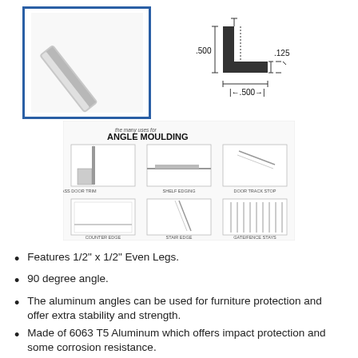[Figure (photo): Photo of aluminum angle moulding bar, shown diagonally inside a blue-bordered rectangle]
[Figure (engineering-diagram): Cross-section technical drawing of the L-shaped aluminum angle showing dimensions: .500 height, .125 thickness, .500 width]
[Figure (infographic): Small multi-panel illustration showing various uses for angle moulding, labeled 'the many uses for ANGLE MOULDING', with six use-case diagrams]
Features 1/2" x 1/2" Even Legs.
90 degree angle.
The aluminum angles can be used for furniture protection and offer extra stability and strength.
Made of 6063 T5 Aluminum which offers impact protection and some corrosion resistance.
Clear Anodized Finish.
Need a custom cut? Please refer to our Product Cutting